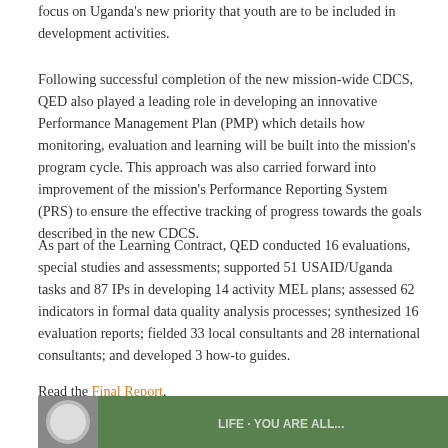focus on Uganda's new priority that youth are to be included in development activities.
Following successful completion of the new mission-wide CDCS, QED also played a leading role in developing an innovative Performance Management Plan (PMP) which details how monitoring, evaluation and learning will be built into the mission's program cycle. This approach was also carried forward into improvement of the mission's Performance Reporting System (PRS) to ensure the effective tracking of progress towards the goals described in the new CDCS.
As part of the Learning Contract, QED conducted 16 evaluations, special studies and assessments; supported 51 USAID/Uganda tasks and 87 IPs in developing 14 activity MEL plans; assessed 62 indicators in formal data quality analysis processes; synthesized 16 evaluation reports; fielded 33 local consultants and 28 international consultants; and developed 3 how-to guides.
Read the Final Report.
[Figure (photo): Partial view of a photo strip at the bottom of the page, showing people outdoors, partially cropped.]